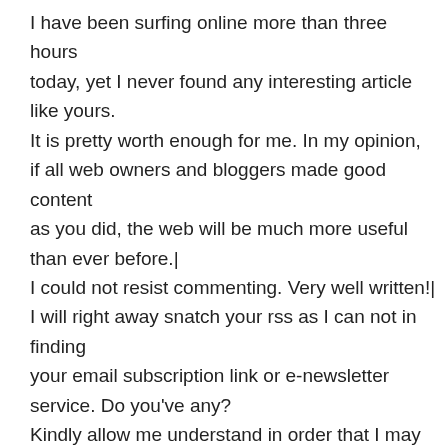I have been surfing online more than three hours today, yet I never found any interesting article like yours. It is pretty worth enough for me. In my opinion, if all web owners and bloggers made good content as you did, the web will be much more useful than ever before.| I could not resist commenting. Very well written!| I will right away snatch your rss as I can not in finding your email subscription link or e-newsletter service. Do you've any? Kindly allow me understand in order that I may subscribe. Thanks.|